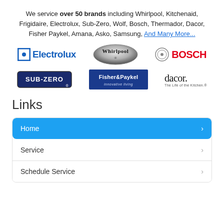We service over 50 brands including Whirlpool, Kitchenaid, Frigidaire, Electrolux, Sub-Zero, Wolf, Bosch, Thermador, Dacor, Fisher Paykel, Amana, Asko, Samsung, And Many More...
[Figure (logo): Brand logos row 1: Electrolux, Whirlpool, Bosch]
[Figure (logo): Brand logos row 2: Sub-Zero, Fisher & Paykel, Dacor]
Links
Home
Service
Schedule Service